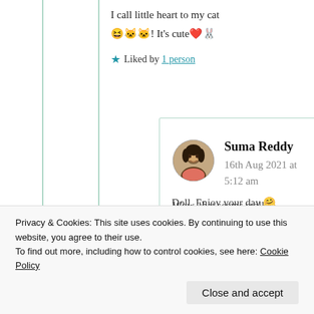I call little heart to my cat 😆🐱🐱! It's cute❤️🐰
★ Liked by 1 person
Suma Reddy
16th Aug 2021 at 5:12 am
Wow, that seems really
Doll. Enjoy your day 🤗
Privacy & Cookies: This site uses cookies. By continuing to use this website, you agree to their use.
To find out more, including how to control cookies, see here: Cookie Policy